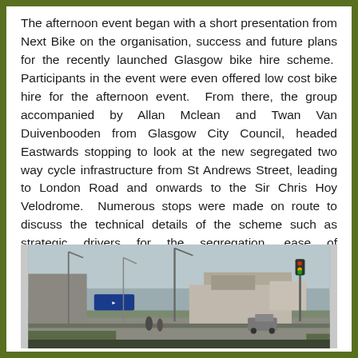The afternoon event began with a short presentation from Next Bike on the organisation, success and future plans for the recently launched Glasgow bike hire scheme.  Participants in the event were even offered low cost bike hire for the afternoon event.  From there, the group accompanied by Allan Mclean and Twan Van Duivenbooden from Glasgow City Council, headed Eastwards stopping to look at the new segregated two way cycle infrastructure from St Andrews Street, leading to London Road and onwards to the Sir Chris Hoy Velodrome.  Numerous stops were made on route to discuss the technical details of the scheme such as strategic drivers for the segregation, ease of implementation, pedestrian and cycle crossing and the need for 'green wave' and the all important costs.
[Figure (photo): Outdoor street scene showing an industrial area with buildings, road infrastructure, vehicles, and people. A blue directional sign is visible, along with lamp posts, a traffic light pole, and a large warehouse-style building in the background under an overcast sky.]